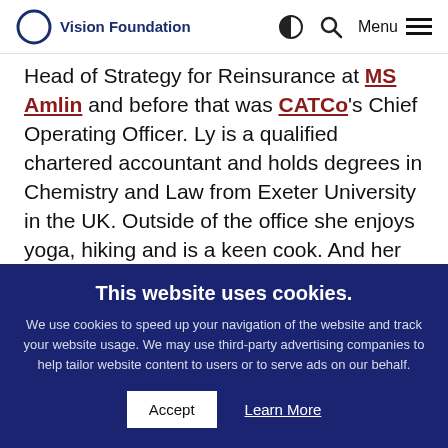Vision Foundation
Head of Strategy for Reinsurance at MS Amlin and before that was CATCo's Chief Operating Officer. Ly is a qualified chartered accountant and holds degrees in Chemistry and Law from Exeter University in the UK. Outside of the office she enjoys yoga, hiking and is a keen cook. And her name may be
This website uses cookies.
We use cookies to speed up your navigation of the website and track your website usage. We may use third-party advertising companies to help tailor website content to users or to serve ads on our behalf.
Accept  Learn More